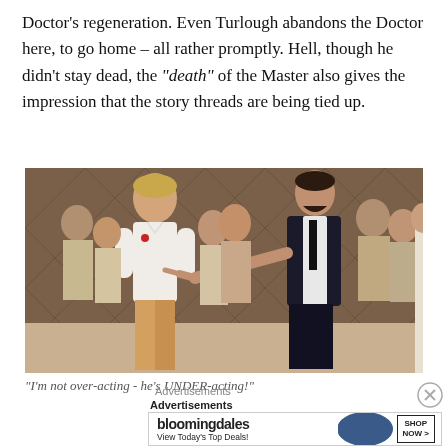Doctor's regeneration. Even Turlough abandons the Doctor here, to go home – all rather promptly. Hell, though he didn't stay dead, the "death" of the Master also gives the impression that the story threads are being tied up.
[Figure (photo): Scene from Doctor Who showing a man in a white shirt and a man in a dark suit pointing, with a crowd of people in the background.]
"I'm not over-acting - he's UNDER-acting!"
Advertisements
[Figure (screenshot): Bloomingdale's advertisement banner with text 'View Today's Top Deals!' and a SHOP NOW button, featuring an image of a woman in a large hat.]